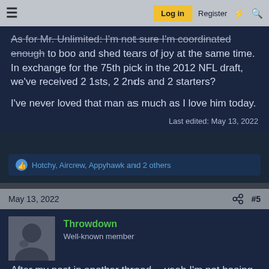Log in | Register
As for Mr. Unlimited: I'm not sure I'm coordinated enough to boo and shed tears of joy at the same time. In exchange for the 75th pick in the 2012 NFL draft, we've received 2 1sts, 2 2nds and 2 starters?
I've never loved that man as much as I love him today.
Last edited: May 13, 2022
Hotchy, Aircrew, Appyhawk and 2 others
May 13, 2022  #5
Throwdown
Well-known member
After my post in another thread… yeah I'm not booing Bobby. Russ on the other hand??? I'm letting 3 years of